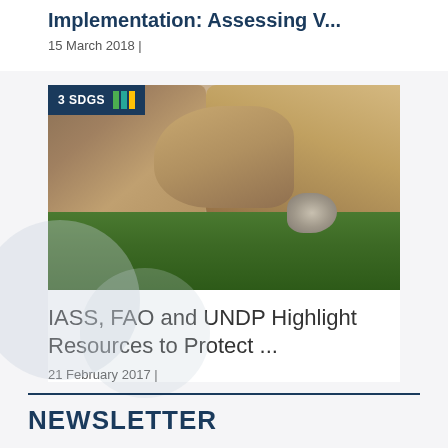Implementation: Assessing V...
15 March 2018 |
[Figure (photo): Nature photo showing a snow leopard or similar wild animal among rocky terrain and green grass, with an SDG badge overlay reading '3 SDGS' with green, teal, and yellow color bars]
IASS, FAO and UNDP Highlight Resources to Protect ...
21 February 2017 |
NEWSLETTER